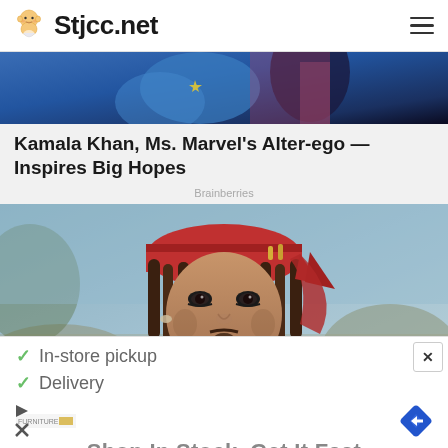Stjcc.net
[Figure (photo): Partially visible photo of costumed characters, appears to show someone in a blue costume]
Kamala Khan, Ms. Marvel’s Alter-ego — Inspires Big Hopes
Brainberries
[Figure (photo): Photo of a person dressed as Captain Jack Sparrow from Pirates of the Caribbean, wearing a red bandana and dreadlocks]
[Figure (screenshot): Advertisement overlay showing: checkmark In-store pickup, checkmark Delivery, furniture brand logo, navigation arrow icon, and text Shop In Stock. Get It Fast]